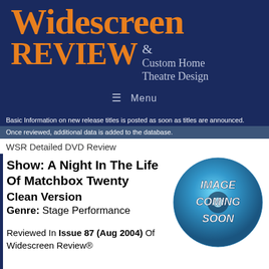[Figure (logo): Widescreen Review & Custom Home Theatre Design logo with orange text on dark navy background]
☰ Menu
Basic Information on new release titles is posted as soon as titles are announced.
Once reviewed, additional data is added to the database.
WSR Detailed DVD Review
Show: A Night In The Life Of Matchbox Twenty
Clean Version
Genre: Stage Performance

Reviewed In Issue 87 (Aug 2004) Of Widescreen Review®
[Figure (illustration): Blue DVD disc placeholder with text IMAGE COMING SOON]